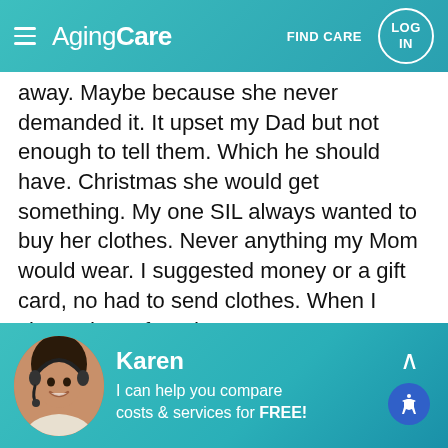AgingCare | FIND CARE | LOG IN
away. Maybe because she never demanded it. It upset my Dad but not enough to tell them. Which he should have. Christmas she would get something. My one SIL always wanted to buy her clothes. Never anything my Mom would wear. I suggested money or a gift card, no had to send clothes. When I cleaned out, found tops Mom never wore because they weren't her. Birthdays and MDay went by.
Her last year very few visits. And one brother is 30
Karen
I can help you compare costs & services for FREE!